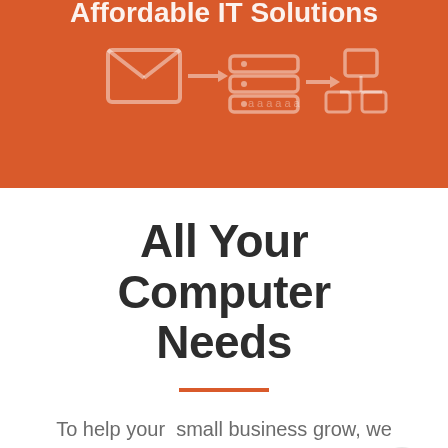[Figure (illustration): Orange/burnt-orange header banner with faint IT/technology icons (envelope, network nodes, computer screens, organizational chart) rendered as semi-transparent shapes on the orange background. Partial white bold text at top reading 'Affordable IT Solutions'.]
All Your Computer Needs
To help your  small business grow, we have a number of IT services and cloud solutions that can benefit your team.